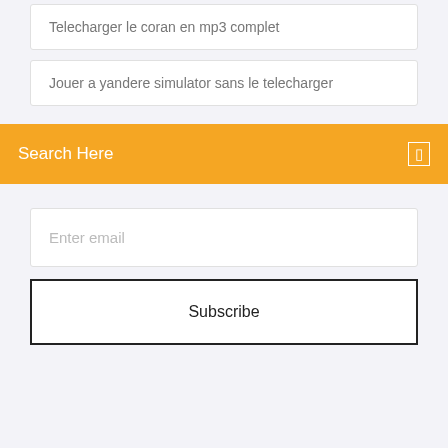Telecharger le coran en mp3 complet
Jouer a yandere simulator sans le telecharger
Search Here
Enter email
Subscribe